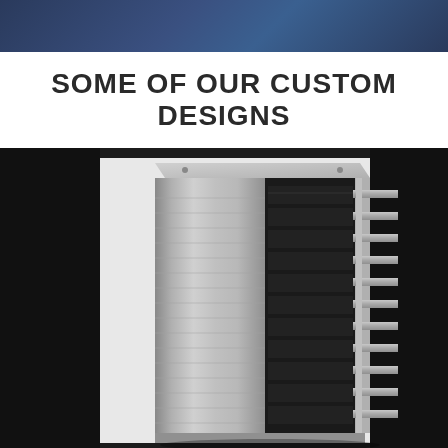[Figure (photo): Dark blue/grey gradient header bar at top of page]
SOME OF OUR CUSTOM DESIGNS
[Figure (photo): A tall stainless steel industrial rack/cabinet unit with multiple pull-out shelves/trays visible on the right side, photographed against a dark background. The unit has a smooth metal side panel and appears to be a custom fabricated storage or drying rack.]